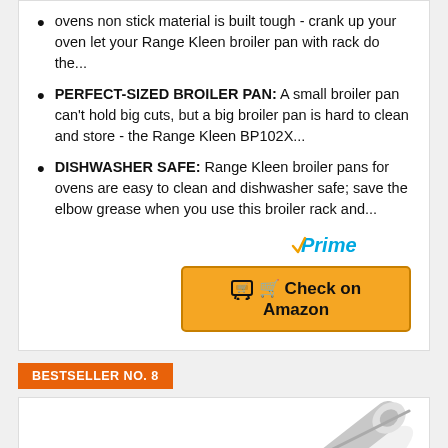ovens non stick material is built tough - crank up your oven let your Range Kleen broiler pan with rack do the...
PERFECT-SIZED BROILER PAN: A small broiler pan can't hold big cuts, but a big broiler pan is hard to clean and store - the Range Kleen BP102X...
DISHWASHER SAFE: Range Kleen broiler pans for ovens are easy to clean and dishwasher safe; save the elbow grease when you use this broiler rack and...
[Figure (logo): Amazon Prime logo with checkmark]
Check on Amazon
BESTSELLER NO. 8
[Figure (photo): Product image partially visible - appears to be a metal kitchen tool]